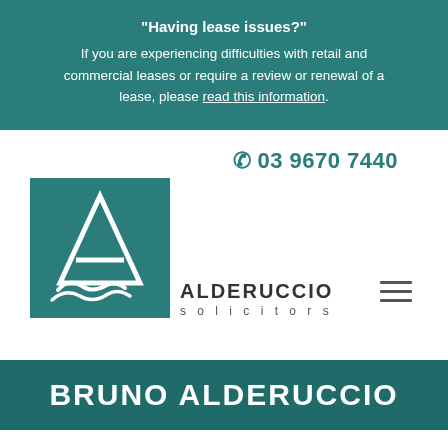“Having lease issues?” If you are experiencing difficulties with retail and commercial leases or require a review or renewal of a lease, please read this information.
[Figure (logo): Alderuccio Solicitors logo with teal square containing a stylized A and wave design, with firm name below]
03 9670 7440
BRUNO ALDERUCCIO